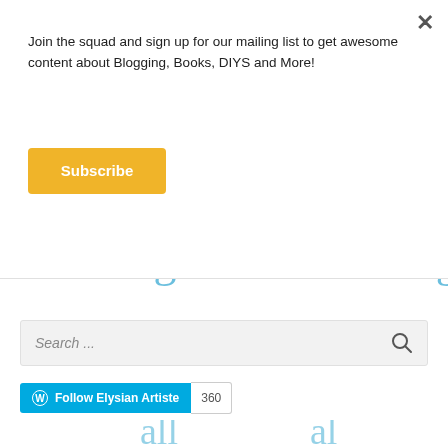Join the squad and sign up for our mailing list to get awesome content about Blogging, Books, DIYS and More!
Subscribe
[Figure (illustration): Cursive text reading 'looking for something?' with a pencil/pen illustration on the right side, in light blue color]
Search ...
Follow Elysian Artiste  360
[Figure (illustration): Partial decorative cursive text at the bottom of the page in light blue]